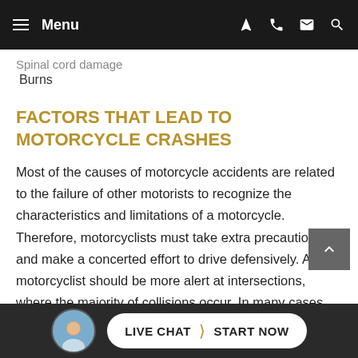Menu
Spinal cord damage
Burns
FACTORS THAT LEAD TO MOTORCYCLE CRASHES
Most of the causes of motorcycle accidents are related to the failure of other motorists to recognize the characteristics and limitations of a motorcycle. Therefore, motorcyclists must take extra precautions and make a concerted effort to drive defensively. A motorcyclist should be more alert at intersections, where the majority of collisions occur. In many cases, other drivers simply do not see the motorcyclist and turn into the path of the motorcycle. This can be due to distractions such as using their cell phones or being under